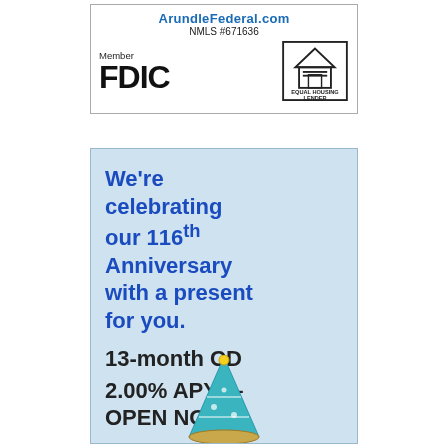[Figure (logo): Arundel Federal bank logo with URL ArundleFederal.com, NMLS #671636, Member FDIC text, and Equal Housing Lender icon]
[Figure (infographic): Light blue advertisement box: 'We're celebrating our 116th Anniversary with a present for you. 13-month CD 2.00% APY* – OPEN NOW' with a party hat illustration at the bottom]